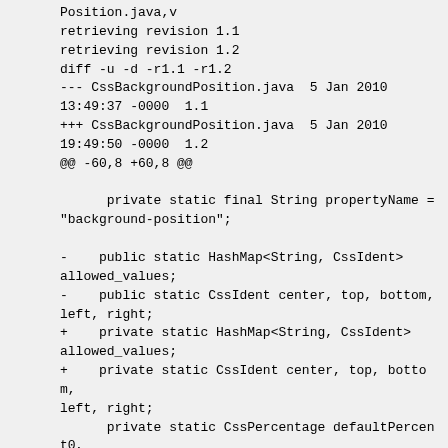Position.java,v
retrieving revision 1.1
retrieving revision 1.2
diff -u -d -r1.1 -r1.2
--- CssBackgroundPosition.java  5 Jan 2010 13:49:37 -0000  1.1
+++ CssBackgroundPosition.java  5 Jan 2010 19:49:50 -0000  1.2
@@ -60,8 +60,8 @@

       private static final String propertyName = "background-position";

-    public static HashMap<String, CssIdent> allowed_values;
-    public static CssIdent center, top, bottom, left, right;
+    private static HashMap<String, CssIdent> allowed_values;
+    private static CssIdent center, top, bottom, left, right;
      private static CssPercentage defaultPercent0, defaultPercent50;
      private static CssPercentage defaultPercent100;

@@ -290,7 +290,7 @@
                    switch (nb_values) {
                        case 1: